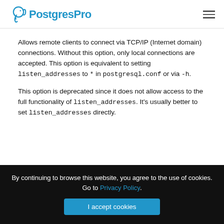PostgresPro
Allows remote clients to connect via TCP/IP (Internet domain) connections. Without this option, only local connections are accepted. This option is equivalent to setting listen_addresses to * in postgresql.conf or via -h.
This option is deprecated since it does not allow access to the full functionality of listen_addresses. It's usually better to set listen_addresses directly.
By continuing to browse this website, you agree to the use of cookies. Go to Privacy Policy.
I accept cookies